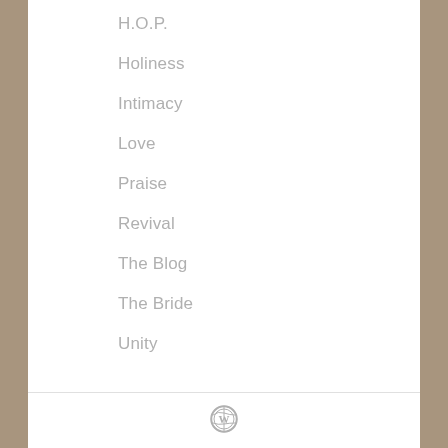H.O.P.
Holiness
Intimacy
Love
Praise
Revival
The Blog
The Bride
Unity
WordPress logo